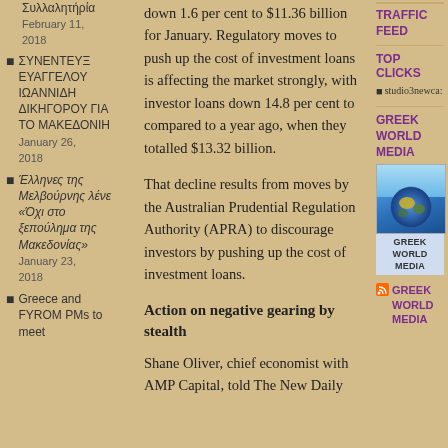Συλλαλητήρία February 11, 2018
ΣΥΝΕΝΤΕΥΞ ΕΥΑΓΓΕΛΟΥ ΙΩΑΝΝΙΔΗ ΔΙΚΗΓΟΡΟΥ ΓΙΑ ΤΟ ΜΑΚΕΔΟΝΙΗ January 26, 2018
Έλληνες της Μελβούρνης λένε «Όχι στο ξεπούλημα της Μακεδονίας» January 23, 2018
Greece and FYROM PMs to meet
down 1.6 per cent to $11.36 billion for January. Regulatory moves to push up the cost of investment loans is affecting the market strongly, with investor loans down 14.8 per cent to compared to a year ago, when they totalled $13.32 billion.
That decline results from moves by the Australian Prudential Regulation Authority (APRA) to discourage investors by pushing up the cost of investment loans.
Action on negative gearing by stealth
Shane Oliver, chief economist with AMP Capital, told The New Daily
TRAFFIC FEED
TOP CLICKS
studio3newca:
GREEK WORLD MEDIA
[Figure (illustration): Globe illustration with blue sky background, labeled GREEK WORLD MEDIA]
GREEK WORLD MEDIA